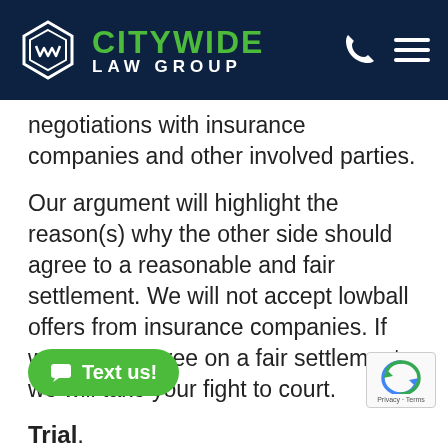CITYWIDE LAW GROUP
negotiations with insurance companies and other involved parties.
Our argument will highlight the reason(s) why the other side should agree to a reasonable and fair settlement. We will not accept lowball offers from insurance companies. If we cannot agree on a fair settlement we will take your fight to court.
Trial.
insurance companies know that we are experienced and successful litigators and will